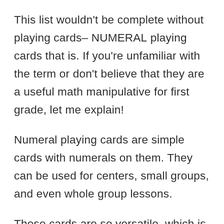This list wouldn't be complete without playing cards– NUMERAL playing cards that is.  If you're unfamiliar with the term or don't believe that they are a useful math manipulative for first grade, let me explain!
Numeral playing cards are simple cards with numerals on them. They can be used for centers, small groups, and even whole group lessons.
These cards are so versatile, which is why they will always have a place on my shelf as one of my all-time favorite first grade math